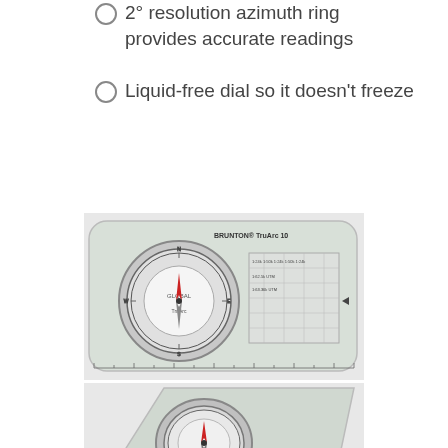2° resolution azimuth ring provides accurate readings
Liquid-free dial so it doesn't freeze
[Figure (photo): Brunton TruArc 10 compass baseplate compass shown from above, displaying compass dial with red needle, azimuth ring, and map measuring scales]
[Figure (photo): Brunton baseplate compass shown at an angle from above, displaying compass dial with red needle and clear baseplate with ruler markings]